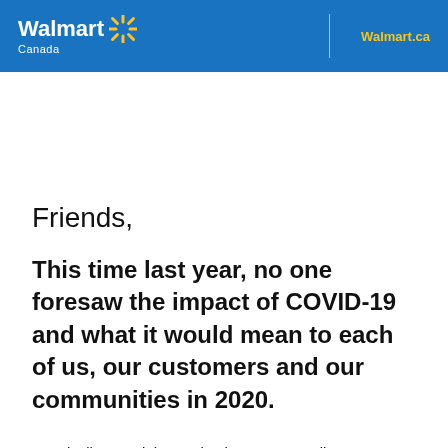Walmart Canada | Walmart.ca
Friends,
This time last year, no one foresaw the impact of COVID-19 and what it would mean to each of us, our customers and our communities in 2020.
Practically overnight, our business, our retail